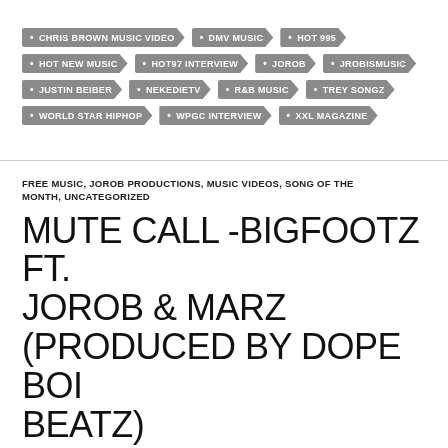CHRIS BROWN MUSIC VIDEO, DMV MUSIC, HOT 995, HOT NEW MUSIC, HOT97 INTERVIEW, JOROB, JROBISMUSIC, JUSTIN BEIBER, NEKEDIETV, R&B MUSIC, TREY SONGZ, WORLD STAR HIPHOP, WPGC INTERVIEW, XXL MAGAZINE
FREE MUSIC, JOROB PRODUCTIONS, MUSIC VIDEOS, SONG OF THE MONTH, UNCATEGORIZED
MUTE CALL -BIGFOOTZ FT. JOROB & MARZ (PRODUCED BY DOPE BOI BEATZ)